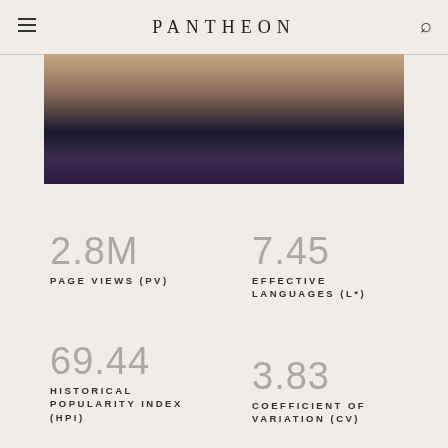PANTHEON
[Figure (photo): Cropped photo of a person wearing a dark top with a necklace, outdoor background]
2.8M
PAGE VIEWS (PV)
7.45
EFFECTIVE LANGUAGES (L*)
69.44
HISTORICAL POPULARITY INDEX (HPI)
3.83
COEFFICIENT OF VARIATION (CV)
57
LANGUAGES EDITIONS (L)